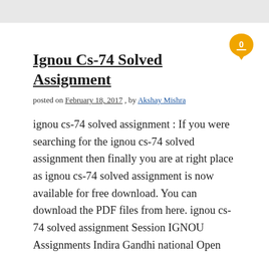Ignou Cs-74 Solved Assignment
posted on February 18, 2017 , by Akshay Mishra
ignou cs-74 solved assignment : If you were searching for the ignou cs-74 solved assignment then finally you are at right place as ignou cs-74 solved assignment is now available for free download. You can download the PDF files from here. ignou cs-74 solved assignment Session IGNOU Assignments Indira Gandhi national Open